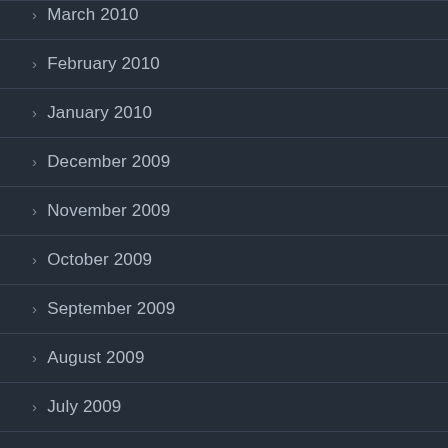March 2010
February 2010
January 2010
December 2009
November 2009
October 2009
September 2009
August 2009
July 2009